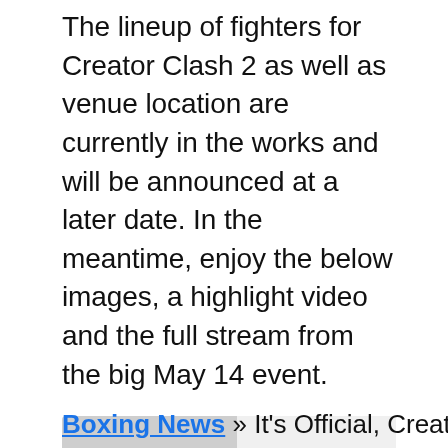The lineup of fighters for Creator Clash 2 as well as venue location are currently in the works and will be announced at a later date. In the meantime, enjoy the below images, a highlight video and the full stream from the big May 14 event.
[Figure (other): A card-style media widget with a grey image placeholder on the left and caption text reading 'Undefeated Tahmir Smalls takes on Joel Guevara' on the right, with a right-arrow chevron.]
Boxing News » It's Official, Creator Clash